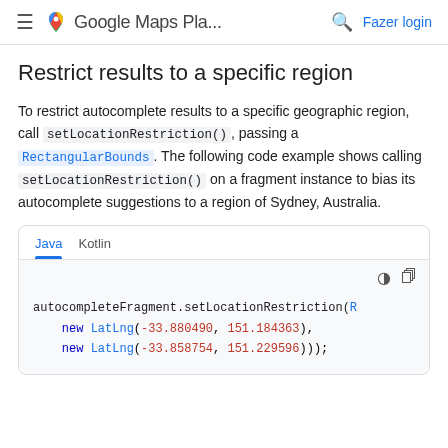Google Maps Pla... Fazer login
Restrict results to a specific region
To restrict autocomplete results to a specific geographic region, call setLocationRestriction(), passing a RectangularBounds. The following code example shows calling setLocationRestriction() on a fragment instance to bias its autocomplete suggestions to a region of Sydney, Australia.
[Figure (screenshot): Code block with Java/Kotlin tabs showing autocompleteFragment.setLocationRestriction(R new LatLng(-33.880490, 151.184363), new LatLng(-33.858754, 151.229596)));]